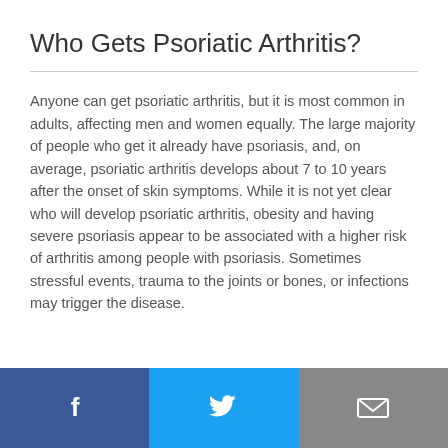Who Gets Psoriatic Arthritis?
Anyone can get psoriatic arthritis, but it is most common in adults, affecting men and women equally. The large majority of people who get it already have psoriasis, and, on average, psoriatic arthritis develops about 7 to 10 years after the onset of skin symptoms. While it is not yet clear who will develop psoriatic arthritis, obesity and having severe psoriasis appear to be associated with a higher risk of arthritis among people with psoriasis. Sometimes stressful events, trauma to the joints or bones, or infections may trigger the disease.
[Figure (infographic): Social sharing bar with three buttons: Facebook (dark blue with f icon), Twitter (light blue with bird icon), Email (gray with envelope icon)]